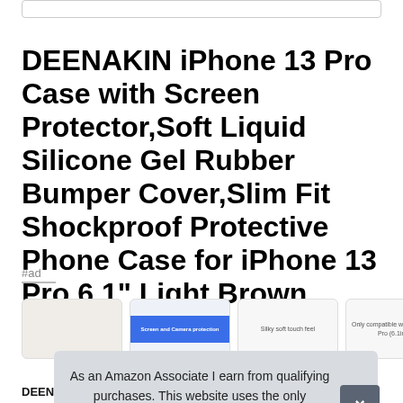DEENAKIN iPhone 13 Pro Case with Screen Protector,Soft Liquid Silicone Gel Rubber Bumper Cover,Slim Fit Shockproof Protective Phone Case for iPhone 13 Pro 6.1" Light Brown
#ad
[Figure (photo): Four product thumbnail images of the phone case in a horizontal row]
As an Amazon Associate I earn from qualifying purchases. This website uses the only necessary cookies to ensure you get the best experience on our website. More information
DEENAKIN   The raised lips 999 inch protect your iphone